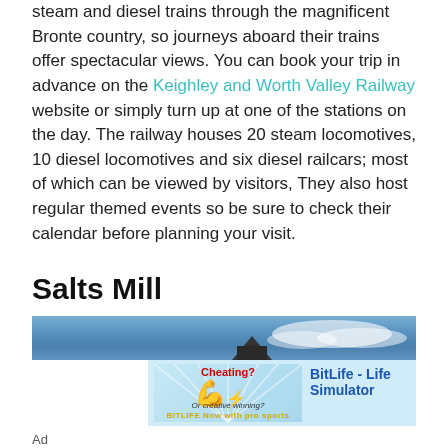steam and diesel trains through the magnificent Bronte country, so journeys aboard their trains offer spectacular views. You can book your trip in advance on the Keighley and Worth Valley Railway website or simply turn up at one of the stations on the day. The railway houses 20 steam locomotives, 10 diesel locomotives and six diesel railcars; most of which can be viewed by visitors, They also host regular themed events so be sure to check their calendar before planning your visit.
Salts Mill
[Figure (photo): Blue sky with clouds banner image at the top of a Salts Mill section, with an advertisement overlay showing a BitLife app ad with flexing arm emoji and 'Cheating? Or creative winning?' text.]
Ad